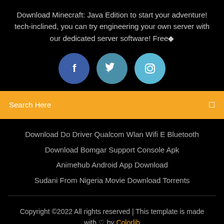Download Minecraft: Java Edition to start your adventure! tech-inclined, you can try engineering your own server with our dedicated server software! Free◆
[Figure (illustration): Three social media circular icon buttons: Facebook (dark blue), Twitter (teal), Instagram (light blue)]
Search Here
Download Do Driver Qualcom Wlan Wifi E Bluetooth
Download Bomgar Support Console Apk
Animehub Android App Download
Sudani From Nigeria Movie Download Torrents
Copyright ©2022 All rights reserved | This template is made with ♡ by Colorlib